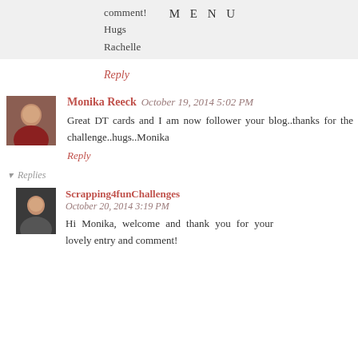comment!
Hugs
Rachelle
MENU
Reply
Monika Reeck October 19, 2014 5:02 PM
Great DT cards and I am now follower your blog..thanks for the challenge..hugs..Monika
Reply
▾ Replies
Scrapping4funChallenges October 20, 2014 3:19 PM
Hi Monika, welcome and thank you for your lovely entry and comment!